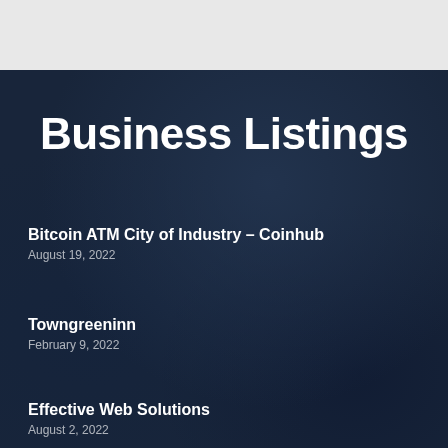Business Listings
Bitcoin ATM City of Industry – Coinhub
August 19, 2022
Towngreeninn
February 9, 2022
Effective Web Solutions
August 2, 2022